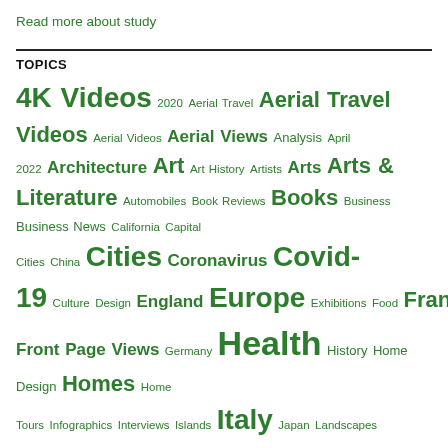Read more about study
TOPICS
4K Videos 2020 Aerial Travel Aerial Travel Videos Aerial Videos Aerial Views Analysis April 2022 Architecture Art Art History Artists Arts Arts & Literature Automobiles Book Reviews Books Business Business News California Capital Cities China Cities Coronavirus Covid-19 Culture Design England Europe Exhibitions Food France Front Page Views Germany Health History Home Design Homes Home Tours Infographics Interviews Islands Italy Japan Landscapes Literature London Magazines Medicine Morning News Morning News Podcast Morning News Podcasts Museums Nature News Newspapers New York Painters Paris PBS PBS Newshour PBS Videos Photography Podcast News Podcasts Political News Political Videos Politicians Politics Previews Profiles Research Reviews Russia Science Science Magazine